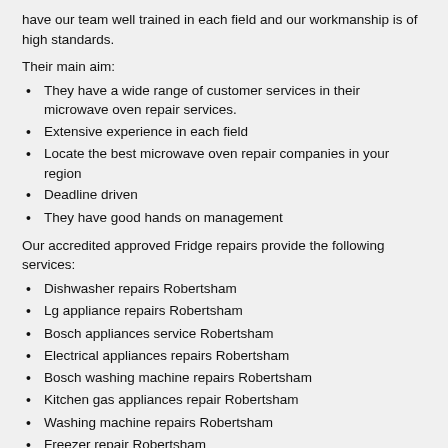have our team well trained in each field and our workmanship is of high standards.
Their main aim:
They have a wide range of customer services in their microwave oven repair services.
Extensive experience in each field
Locate the best microwave oven repair companies in your region
Deadline driven
They have good hands on management
Our accredited approved Fridge repairs provide the following services:
Dishwasher repairs Robertsham
Lg appliance repairs Robertsham
Bosch appliances service Robertsham
Electrical appliances repairs Robertsham
Bosch washing machine repairs Robertsham
Kitchen gas appliances repair Robertsham
Washing machine repairs Robertsham
Freezer repair Robertsham
Refrigerator repairs Robertsham
Appliance installer Robertsham
Ge appliances repairs Robertsham
Washer repair Robertsham
Vacuum cleaner repair Robertsham
Small electric appliance repair Robertsham